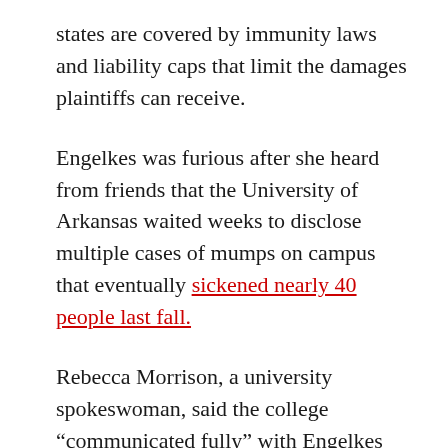states are covered by immunity laws and liability caps that limit the damages plaintiffs can receive.
Engelkes was furious after she heard from friends that the University of Arkansas waited weeks to disclose multiple cases of mumps on campus that eventually sickened nearly 40 people last fall.
Rebecca Morrison, a university spokeswoman, said the college “communicated fully” with Engelkes and her family in 2016, but Morrison declined to comment further on her care, citing privacy laws. She added that the college